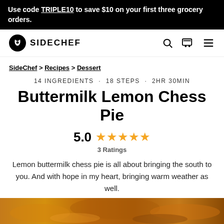Use code TRIPLE10 to save $10 on your first three grocery orders.
[Figure (logo): SideChef logo with navigation icons (search, cart, menu)]
SideChef > Recipes > Dessert
14 INGREDIENTS · 18 STEPS · 2HR 30MIN
Buttermilk Lemon Chess Pie
5.0 ★★★★★
3 Ratings
Lemon buttermilk chess pie is all about bringing the south to you. And with hope in my heart, bringing warm weather as well.
[Figure (photo): Bottom strip showing a golden-brown baked pie crust]